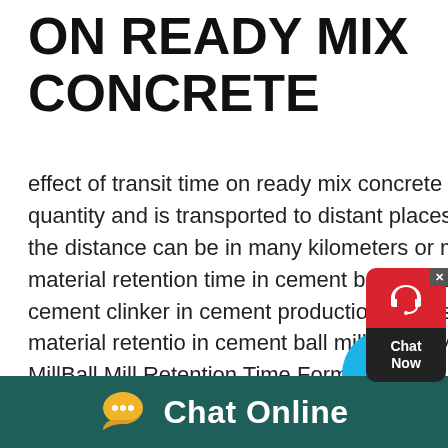ON READY MIX CONCRETE
effect of transit time on ready mix concrete Ready mix concrete is generally produced in large quantity and is transported to distant places for placement in structural elements Sometimes the distance can be in many kilometers or milesvertical mills retention time formula Cement Mill material retention time in cement ball millFeatures The cement mill is mainly used to grind cement clinker in cement production process and it also vertical mills retention time formula material retention in cement ball mill Learn More How To Calculate Residence Time In A Ball MillBall Mill Retention Time Formula Kaseo Heavy MachineryThe Retention Time Of Ball Mill Of Cement Production Retention time ball mill
[Figure (other): Red and black chat widget with headset icon and 'Chat Now' text]
[Figure (other): Blue circle decorative element]
Chat Online